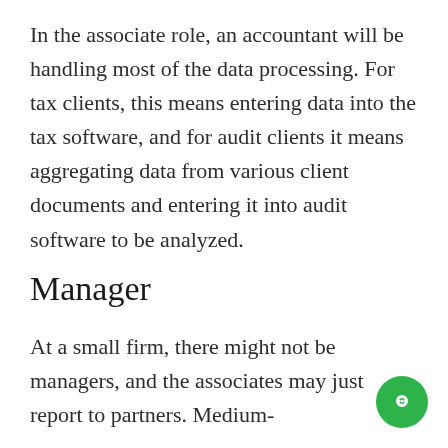In the associate role, an accountant will be handling most of the data processing. For tax clients, this means entering data into the tax software, and for audit clients it means aggregating data from various client documents and entering it into audit software to be analyzed.
Manager
At a small firm, there might not be managers, and the associates may just report to partners. Medium-